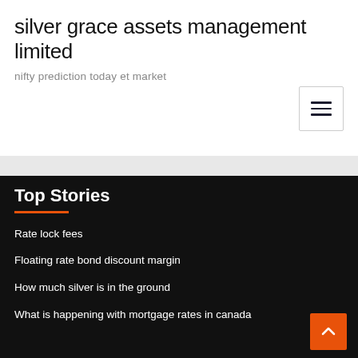silver grace assets management limited
nifty prediction today et market
Top Stories
Rate lock fees
Floating rate bond discount margin
How much silver is in the ground
What is happening with mortgage rates in canada